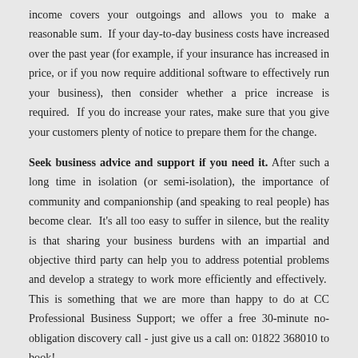income covers your outgoings and allows you to make a reasonable sum. If your day-to-day business costs have increased over the past year (for example, if your insurance has increased in price, or if you now require additional software to effectively run your business), then consider whether a price increase is required. If you do increase your rates, make sure that you give your customers plenty of notice to prepare them for the change.
Seek business advice and support if you need it. After such a long time in isolation (or semi-isolation), the importance of community and companionship (and speaking to real people) has become clear. It's all too easy to suffer in silence, but the reality is that sharing your business burdens with an impartial and objective third party can help you to address potential problems and develop a strategy to work more efficiently and effectively. This is something that we are more than happy to do at CC Professional Business Support; we offer a free 30-minute no-obligation discovery call - just give us a call on: 01822 368010 to book!